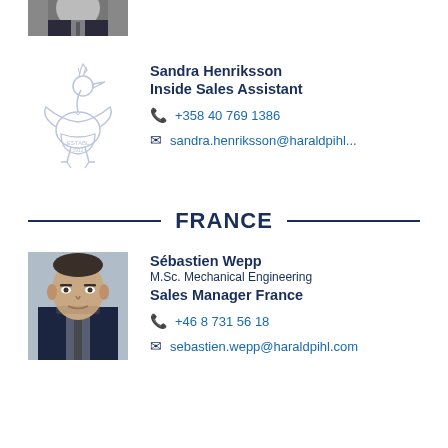[Figure (photo): Partially visible cropped photo of a person in dark suit at top of page]
[Figure (logo): Harald Pihl company logo - illustrated bird/stork mascot with banner]
Sandra Henriksson
Inside Sales Assistant
+358 40 769 1386
sandra.henriksson@haraldpihl...
FRANCE
[Figure (photo): Photo of Sébastien Wepp, man in dark suit with tie]
Sébastien Wepp
M.Sc. Mechanical Engineering
Sales Manager France
+46 8 731 56 18
sebastien.wepp@haraldpihl.com